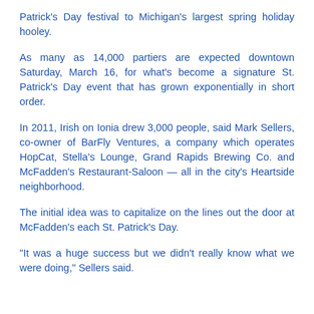Patrick's Day festival to Michigan's largest spring holiday hooley.
As many as 14,000 partiers are expected downtown Saturday, March 16, for what's become a signature St. Patrick's Day event that has grown exponentially in short order.
In 2011, Irish on Ionia drew 3,000 people, said Mark Sellers, co-owner of BarFly Ventures, a company which operates HopCat, Stella's Lounge, Grand Rapids Brewing Co. and McFadden's Restaurant-Saloon — all in the city's Heartside neighborhood.
The initial idea was to capitalize on the lines out the door at McFadden's each St. Patrick's Day.
“It was a huge success but we didn’t really know what we were doing,” Sellers said.